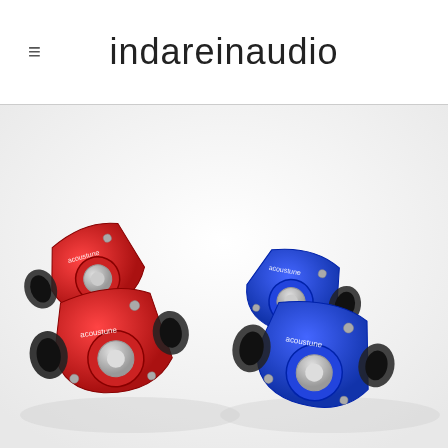indareinaudio
[Figure (photo): Two red and two blue in-ear monitors (earphones) labeled 'acoustune', displayed on a white surface. The red pair is on the left and the blue pair is on the right, showing metallic angular housings with ear tips attached.]